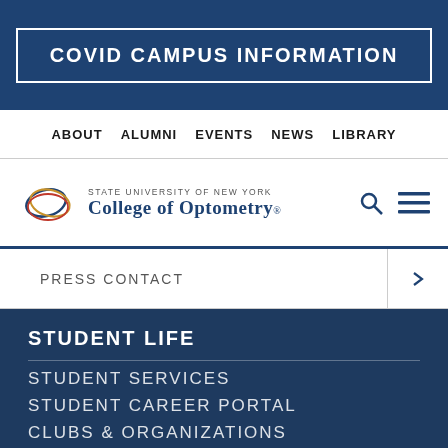COVID CAMPUS INFORMATION
ABOUT  ALUMNI  EVENTS  NEWS  LIBRARY
[Figure (logo): State University of New York College of Optometry logo with circular eye icon]
PRESS CONTACT
STUDENT LIFE
STUDENT SERVICES
STUDENT CAREER PORTAL
CLUBS & ORGANIZATIONS
STUDENT HANDBOOK
Apply  Give  Appointment